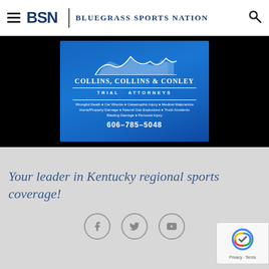BSN | Bluegrass Sports Nation
[Figure (logo): Collins, Collins & Conley Trial Attorneys advertisement on blue gradient background. Mountain silhouette graphic at top. Text: Wrongful Death, Car Wrecks, Catastrophic Injury, Medical Malpractice, Home/Property Damage, Natural Gas Explosions, Truck Accidents, Blasting Damage, Personal Injury. Phone: 606-785-5048.]
Your leader in Kentucky regional sports coverage!
[Figure (infographic): Three social media icon circles: Facebook, Twitter, YouTube]
[Figure (logo): reCAPTCHA badge with Google logo, Privacy and Terms links]